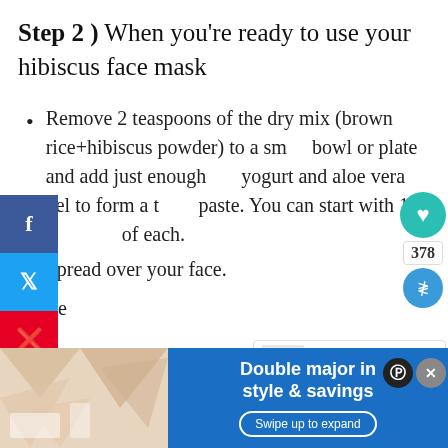Step 2 ) When you're ready to use your hibiscus face mask
Remove 2 teaspoons of the dry mix (brown rice+hibiscus powder) to a small bowl or plate and add just enough yogurt and aloe vera gel to form a thick paste. You can start with 1/4 teaspoon of each.
Spread over your face.
Le...e